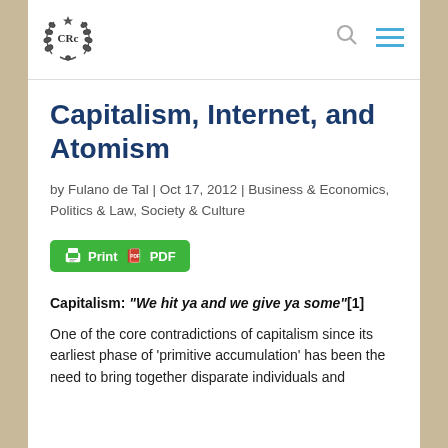CRC logo and navigation header
Capitalism, Internet, and Atomism
by Fulano de Tal | Oct 17, 2012 | Business & Economics, Politics & Law, Society & Culture
[Figure (other): Green Print PDF button]
Capitalism: "We hit ya and we give ya some"[1]
One of the core contradictions of capitalism since its earliest phase of 'primitive accumulation' has been the need to bring together disparate individuals and